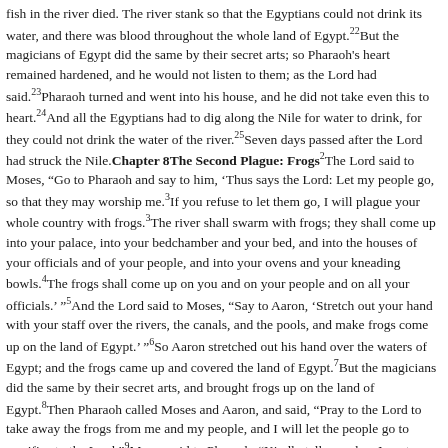fish in the river died. The river stank so that the Egyptians could not drink its water, and there was blood throughout the whole land of Egypt.22But the magicians of Egypt did the same by their secret arts; so Pharaoh's heart remained hardened, and he would not listen to them; as the Lord had said.23Pharaoh turned and went into his house, and he did not take even this to heart.24And all the Egyptians had to dig along the Nile for water to drink, for they could not drink the water of the river.25Seven days passed after the Lord had struck the Nile.Chapter 8The Second Plague: Frogs2The Lord said to Moses, "Go to Pharaoh and say to him, 'Thus says the Lord: Let my people go, so that they may worship me.3If you refuse to let them go, I will plague your whole country with frogs.3The river shall swarm with frogs; they shall come up into your palace, into your bedchamber and your bed, and into the houses of your officials and of your people, and into your ovens and your kneading bowls.4The frogs shall come up on you and on your people and on all your officials.' "5And the Lord said to Moses, "Say to Aaron, 'Stretch out your hand with your staff over the rivers, the canals, and the pools, and make frogs come up on the land of Egypt.' "6So Aaron stretched out his hand over the waters of Egypt; and the frogs came up and covered the land of Egypt.7But the magicians did the same by their secret arts, and brought frogs up on the land of Egypt.8Then Pharaoh called Moses and Aaron, and said, "Pray to the Lord to take away the frogs from me and my people, and I will let the people go to sacrifice to the Lord."9Moses said to Pharaoh, "Kindly tell me when I am to pray for you and for your officials and for your people, that the frogs may be removed from you and your houses and be left only in the Nile."10And he said, "Tomorrow." Moses said, "As you say! So that you may know that there is no one like the Lord our God,11the frogs shall leave you and your houses and your officials and your people; they shall be left only in the Nile."12Then Moses and Aaron went out from Pharaoh; and Moses cried out to the Lord concerning the frogs that he had brought upon Pharaoh.13And the Lord did as Moses requested: the frogs died in the houses, the courtyards, and the fields.14And they gathered them together in heaps, and the land stank.15But when Pharaoh saw that there was a respite, he hardened his heart, and would not listen to them, just as the Lord had said.The Third Plague: Gnats16Then the Lord said to Moses, "Say to Aaron, 'Stretch out your staff and strike the dust of the earth, so that it may become gnats throughout the whole land of Egypt.' "17And they did so; Aaron stretched out his hand with his staff and struck the dust of the earth, and gnats came on humans and animals alike; all the dust of the earth turned into gnats throughout the whole land of Egypt.18The magicians tried to produce gnats by their secret arts, but they could not. There were